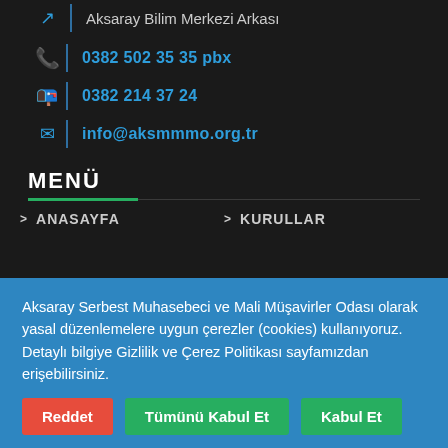Aksaray Bilim Merkezi Arkası
0382 502 35 35 pbx
0382 214 37 24
info@aksmmmo.org.tr
MENÜ
ANASAYFA
KURULLAR
Aksaray Serbest Muhasebeci ve Mali Müşavirler Odası olarak yasal düzenlemelere uygun çerezler (cookies) kullanıyoruz. Detaylı bilgiye Gizlilik ve Çerez Politikası sayfamızdan erişebilirsiniz.
Reddet | Tümünü Kabul Et | Kabul Et